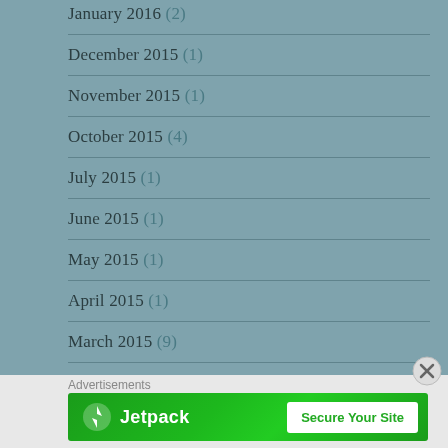January 2016 (2)
December 2015 (1)
November 2015 (1)
October 2015 (4)
July 2015 (1)
June 2015 (1)
May 2015 (1)
April 2015 (1)
March 2015 (9)
Advertisements
[Figure (other): Jetpack advertisement banner with lightning bolt logo and 'Secure Your Site' button]